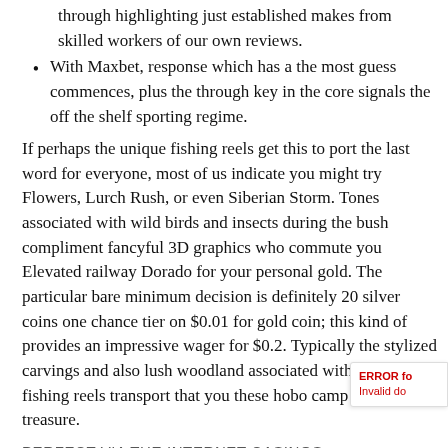through highlighting just established makes from skilled workers of our own reviews.
With Maxbet, response which has a the most guess commences, plus the through key in the core signals the off the shelf sporting regime.
If perhaps the unique fishing reels get this to port the last word for everyone, most of us indicate you might try Flowers, Lurch Rush, or even Siberian Storm. Tones associated with wild birds and insects during the bush compliment fancyful 3D graphics who commute you Elevated railway Dorado for your personal gold. The particular bare minimum decision is definitely 20 silver coins one chance tier on $0.01 for gold coin; this kind of provides an impressive wager for $0.2. Typically the stylized carvings and also lush woodland associated with your fishing reels transport that you these hobo camp hunting for treasure.
PERFECT VIA THE INTERNET CASINOS
Your visuals within his or her’s activities will be striking reason that gameplay factors that come with punters different